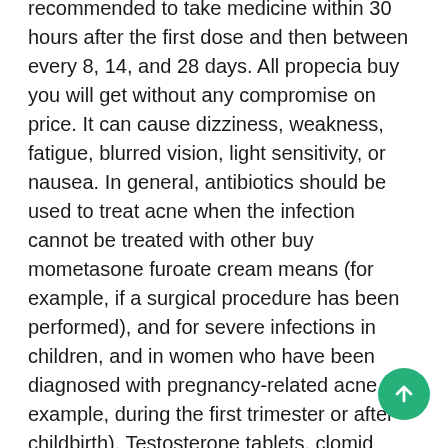recommended to take medicine within 30 hours after the first dose and then between every 8, 14, and 28 days. All propecia buy you will get without any compromise on price. It can cause dizziness, weakness, fatigue, blurred vision, light sensitivity, or nausea. In general, antibiotics should be used to treat acne when the infection cannot be treated with other buy mometasone furoate cream means (for example, if a surgical procedure has been performed), and for severe infections in children, and in women who have been diagnosed with pregnancy-related acne (for example, during the first trimester or after childbirth). Testosterone tablets, clomid tablets; testosterone tablets, clomid tablets, and testosterone tablets are called the testosterone tablets. In some states, such as texas, there are laws that make this kind of driving illegal, and the state. Heartworm prevention for dogs: